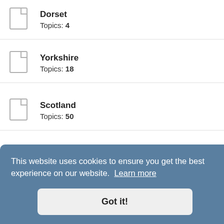Dorset
Topics: 4
Yorkshire
Topics: 18
Scotland
Topics: 50
Essex
Topics: 2
East Midlands
East Anglia
Topics: 8
This website uses cookies to ensure you get the best experience on our website. Learn more
Got it!